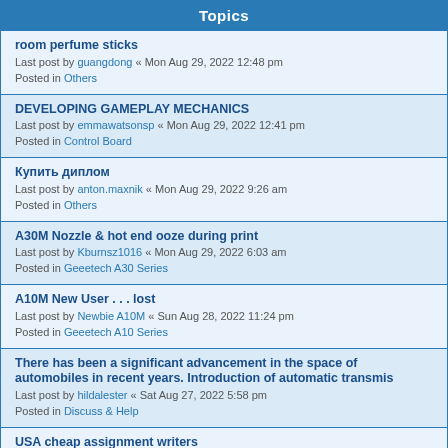Topics
room perfume sticks
Last post by guangdong « Mon Aug 29, 2022 12:48 pm
Posted in Others
DEVELOPING GAMEPLAY MECHANICS
Last post by emmawatsonsp « Mon Aug 29, 2022 12:41 pm
Posted in Control Board
Купить диплом
Last post by anton.maxnik « Mon Aug 29, 2022 9:26 am
Posted in Others
A30M Nozzle & hot end ooze during print
Last post by Kburnsz1016 « Mon Aug 29, 2022 6:03 am
Posted in Geeetech A30 Series
A10M New User . . . lost
Last post by Newbie A10M « Sun Aug 28, 2022 11:24 pm
Posted in Geeetech A10 Series
There has been a significant advancement in the space of automobiles in recent years. Introduction of automatic transmis
Last post by hildalester « Sat Aug 27, 2022 5:58 pm
Posted in Discuss & Help
USA cheap assignment writers
Last post by edward1234 « Sat Aug 27, 2022 5:47 pm
Posted in Discuss & Help
How Do Unbalanced Tyres Affect Your Car's Safety? Let's Find Out
Last post by josepthomas « Sat Aug 27, 2022 1:38 pm
Posted in Stepper Motor
Who also has this problem?